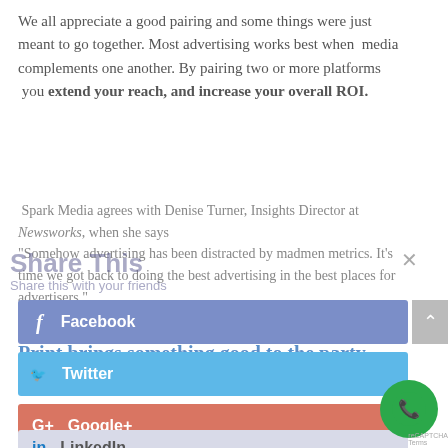We all appreciate a good pairing and some things were just meant to go together. Most advertising works best when media complements one another. By pairing two or more platforms you extend your reach, and increase your overall ROI.
Spark Media agrees with Denise Turner, Insights Director at Newsworks, when she says "Somehow advertising has been distracted by madmen metrics. It's time we got back to doing the best advertising in the best places for advertisers."
Print brings something good to the party
Significant assets of print are trust, relevance and low levels of intrusion (all key elements in a very disrupted world). With more people turning to trusted
[Figure (screenshot): Share This social sharing overlay showing Facebook, Twitter, Google+, and LinkedIn buttons with a close (x) button]